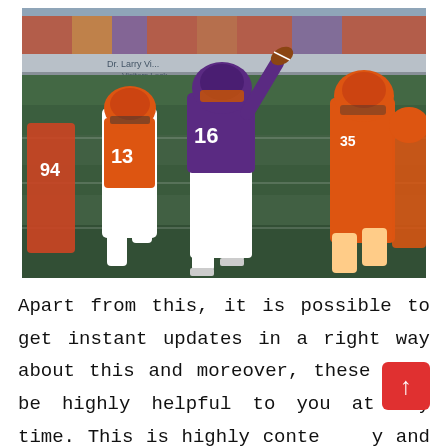[Figure (photo): American football game photo showing quarterback wearing purple jersey number 16 in throwing motion, surrounded by orange-uniformed defenders including player number 13 and number 94, on a green grass field with stadium stands and crowd visible in background.]
Apart from this, it is possible to get instant updates in a right way about this and moreover, these will be highly helpful to you at any time. This is highly contemporary and more features and facilities in this site make this a better unique site for updating and sharing the info